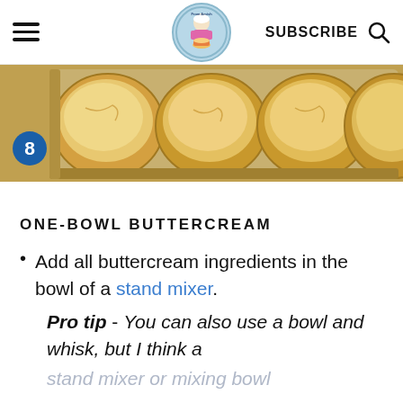≡  [Logo: From Amish]  SUBSCRIBE  🔍
[Figure (photo): Step 8: Four baked round cakes in a baking tray, golden brown on top, viewed from above. A blue circle badge with the number 8 is visible in the lower left.]
ONE-BOWL BUTTERCREAM
Add all buttercream ingredients in the bowl of a stand mixer.
Pro tip - You can also use a bowl and whisk, but I think a
stand mixer or mixing bowl